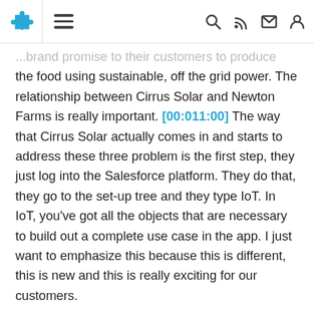[navigation bar with puzzle icon, hamburger menu, search, RSS, share, and user icons]
...brand promise to their customers to produce the food using sustainable, off the grid power. The relationship between Cirrus Solar and Newton Farms is really important. [00:011:00] The way that Cirrus Solar actually comes in and starts to address these three problem is the first step, they just log into the Salesforce platform. They do that, they go to the set-up tree and they type IoT. In IoT, you've got all the objects that are necessary to build out a complete use case in the app. I just want to emphasize this because this is different, this is new and this is really exciting for our customers.
They're going to click orchestrations and they're